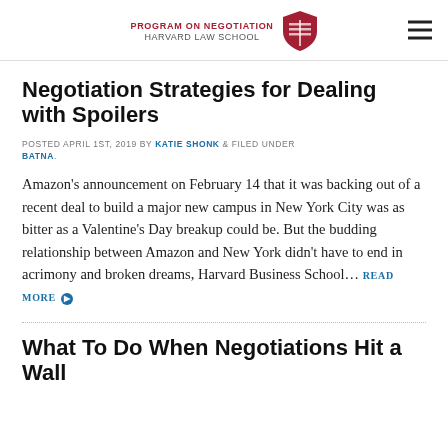PROGRAM ON NEGOTIATION HARVARD LAW SCHOOL
Negotiation Strategies for Dealing with Spoilers
POSTED APRIL 1ST, 2019 BY KATIE SHONK & FILED UNDER BATNA.
Amazon's announcement on February 14 that it was backing out of a recent deal to build a major new campus in New York City was as bitter as a Valentine's Day breakup could be. But the budding relationship between Amazon and New York didn't have to end in acrimony and broken dreams, Harvard Business School… READ MORE
What To Do When Negotiations Hit a Wall